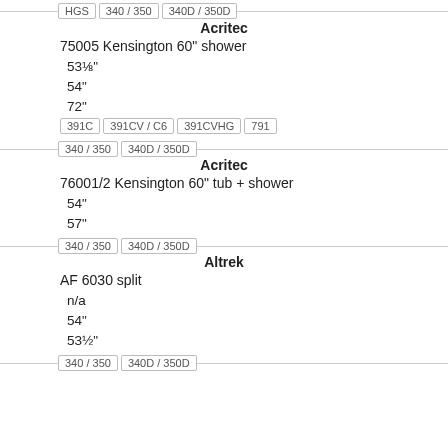| HGS | 340 / 350 | 340D / 350D |
Acritec
75005 Kensington 60" shower
53⅛"
54"
72"
| 391C | 391CV / C6 | 391CVHG | 791 |
| 340 / 350 | 340D / 350D |
Acritec
76001/2 Kensington 60" tub + shower
54"
57"
| 340 / 350 | 340D / 350D |
Altrek
AF 6030 split
n/a
54"
53½"
| 340 / 350 | 340D / 350D |